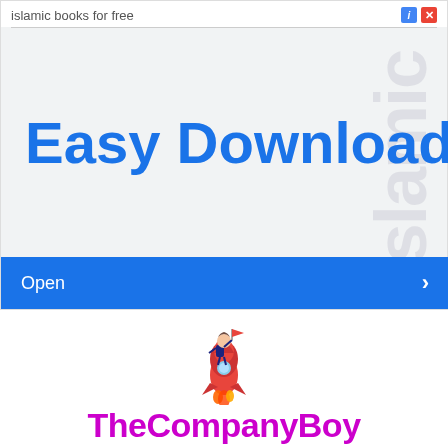[Figure (screenshot): Advertisement banner with label 'islamic books for free', watermark text 'islamic' rotated vertically, large blue text 'Easy Download', and blue 'Open' button with right arrow]
[Figure (illustration): Cartoon businessman riding a rocket with red flag]
TheCompanyBoy